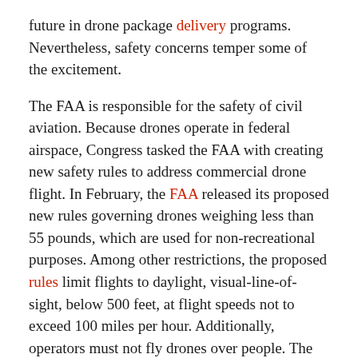future in drone package delivery programs. Nevertheless, safety concerns temper some of the excitement.
The FAA is responsible for the safety of civil aviation. Because drones operate in federal airspace, Congress tasked the FAA with creating new safety rules to address commercial drone flight. In February, the FAA released its proposed new rules governing drones weighing less than 55 pounds, which are used for non-recreational purposes. Among other restrictions, the proposed rules limit flights to daylight, visual-line-of-sight, below 500 feet, at flight speeds not to exceed 100 miles per hour. Additionally, operators must not fly drones over people. The FAA would also require operators to be certified and to incur other responsibilities.
Not everyone is happy with the FAA's newly proposed rules. Opponents say that the rules needlessly stifle technological development with unwarranted safety concerns. For example Jeff Bezos, CEO of e-commerce giant Amazon, wants its drone-based Prime Air program to reduce package delivery down to a 30-minute window. Bezos first announced in 2013 his plans to reinvent package delivery through the use of unmanned drones. Since that